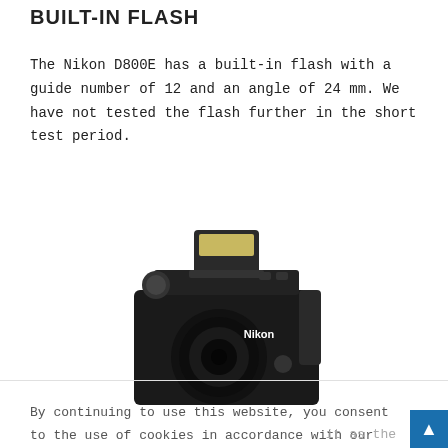BUILT-IN FLASH
The Nikon D800E has a built-in flash with a guide number of 12 and an angle of 24 mm. We have not tested the flash further in the short test period.
[Figure (photo): Nikon D800E camera with built-in flash popped up, front view showing Nikon branding on a black DSLR body with lens.]
By continuing to use this website, you consent to the use of cookies in accordance with our Cookie Policy.
ACCEPT
it as the